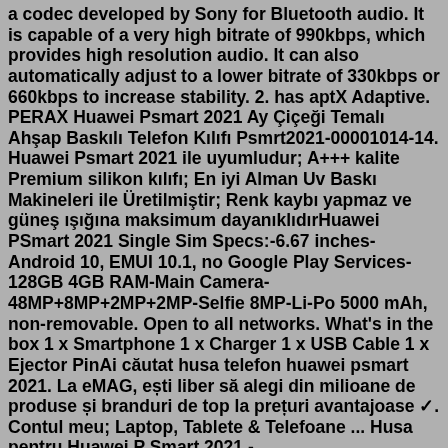a codec developed by Sony for Bluetooth audio. It is capable of a very high bitrate of 990kbps, which provides high resolution audio. It can also automatically adjust to a lower bitrate of 330kbps or 660kbps to increase stability. 2. has aptX Adaptive. PERAX Huawei Psmart 2021 Ay Çiçeği Temalı Ahşap Baskılı Telefon Kılıfı Psmrt2021-00001014-14. Huawei Psmart 2021 ile uyumludur; A+++ kalite Premium silikon kılıfı; En iyi Alman Uv Baskı Makineleri ile Üretilmiştir; Renk kaybı yapmaz ve güneş ışığına maksimum dayanıklıdırHuawei PSmart 2021 Single Sim Specs:-6.67 inches-Android 10, EMUI 10.1, no Google Play Services-128GB 4GB RAM-Main Camera-48MP+8MP+2MP+2MP-Selfie 8MP-Li-Po 5000 mAh, non-removable. Open to all networks. What's in the box 1 x Smartphone 1 x Charger 1 x USB Cable 1 x Ejector PinAi căutat husa telefon huawei psmart 2021. La eMAG, ești liber să alegi din milioane de produse și branduri de top la prețuri avantajoase ✓. Contul meu; Laptop, Tablete & Telefoane ... Husa pentru Huawei P Smart 2021 -